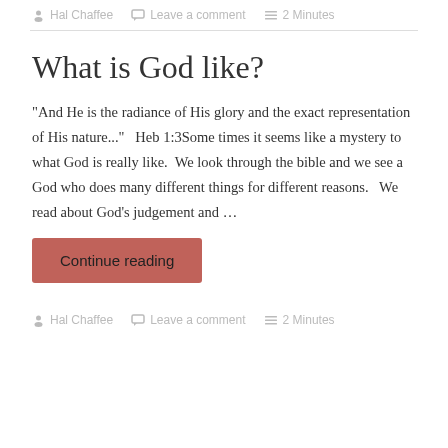Hal Chaffee   Leave a comment   2 Minutes
What is God like?
"And He is the radiance of His glory and the exact representation of His nature..."   Heb 1:3Some times it seems like a mystery to what God is really like.  We look through the bible and we see a God who does many different things for different reasons.   We read about God's judgement and …
Continue reading
Hal Chaffee   Leave a comment   2 Minutes